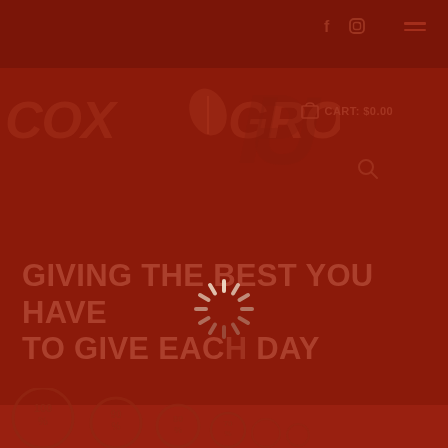Cox Group - navigation header with social icons, cart, search, and hamburger menu
[Figure (logo): Cox Group logo with stylized italic text 'COX GROUP' and a leaf icon, rendered in muted dark red tones against a dark red background]
CART: $0.00
GIVING THE BEST YOU HAVE TO GIVE EACH DAY
[Figure (other): Loading spinner animation overlay in white/light cream color, circular radial dash pattern centered on the page]
[Figure (infographic): Row of circular percentage badge icons (100%, 90%, 80%, and more partially visible) in muted dark red tones at the bottom of the page]